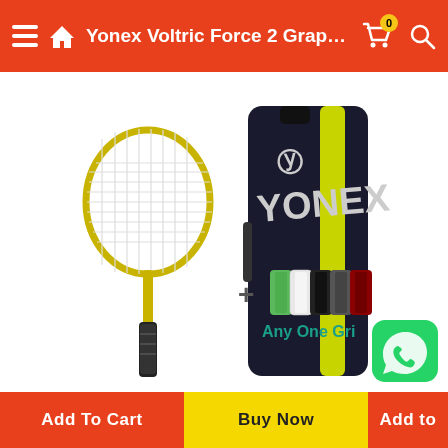Yonex Voltric Force 2 Graphite...
[Figure (photo): Yonex Voltric Force 2 graphite badminton racket (yellow/black) leaning against a black and yellow Yonex racket bag, plus grip accessories and a WhatsApp button overlay. Text reads 'Any One Grip'.]
Add To Cart | Buy Now | Add to